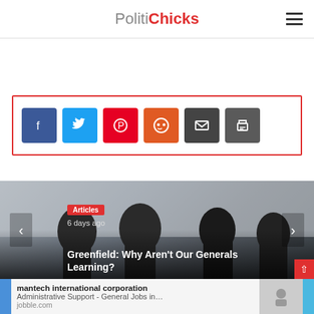PolitiChicks
Smoky, Ophelia, Tucker and Bad Timo, among others. In the time of Heaven, it will seem like only minutes before we join them again.
[Figure (other): Social share button bar with Facebook, Twitter, Pinterest, Reddit, Email, and Print icons in a red-bordered box]
[Figure (photo): Military soldiers silhouette image with overlaid article card showing tag 'Articles', date '6 days ago', and title 'Greenfield: Why Aren't Our Generals Learning?']
[Figure (other): Advertisement bar at bottom: mantech international corporation - Administrative Support - General Jobs in... - jobble.com]